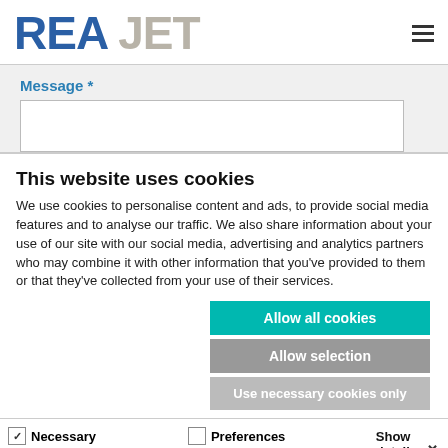REA JET
Message *
This website uses cookies
We use cookies to personalise content and ads, to provide social media features and to analyse our traffic. We also share information about your use of our site with our social media, advertising and analytics partners who may combine it with other information that you've provided to them or that they've collected from your use of their services.
Allow all cookies
Allow selection
Use necessary cookies only
Necessary  Preferences  Show details  Statistics  Marketing